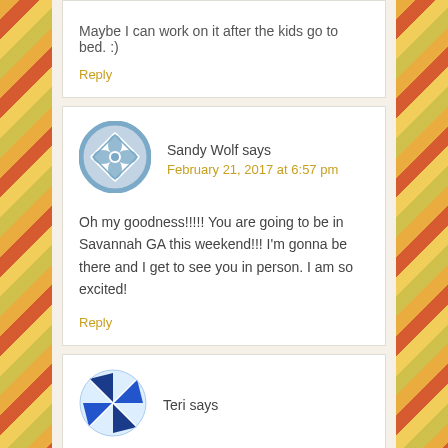Maybe I can work on it after the kids go to bed. :)
Reply
Sandy Wolf says
February 21, 2017 at 6:57 pm
Oh my goodness!!!!! You are going to be in Savannah GA this weekend!!! I'm gonna be there and I get to see you in person. I am so excited!
Reply
Teri says